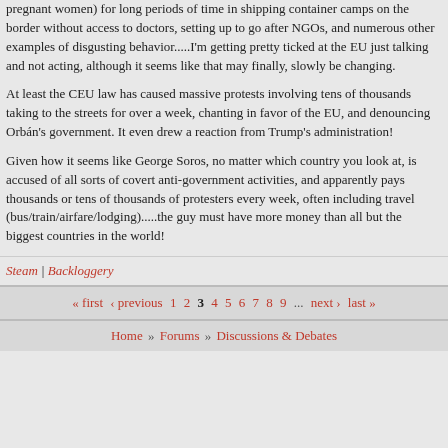pregnant women) for long periods of time in shipping container camps on the border without access to doctors, setting up to go after NGOs, and numerous other examples of disgusting behavior.....I'm getting pretty ticked at the EU just talking and not acting, although it seems like that may finally, slowly be changing.
At least the CEU law has caused massive protests involving tens of thousands taking to the streets for over a week, chanting in favor of the EU, and denouncing Orbán's government. It even drew a reaction from Trump's administration!
Given how it seems like George Soros, no matter which country you look at, is accused of all sorts of covert anti-government activities, and apparently pays thousands or tens of thousands of protesters every week, often including travel (bus/train/airfare/lodging).....the guy must have more money than all but the biggest countries in the world!
Steam | Backloggery
« first ‹ previous 1 2 3 4 5 6 7 8 9 ... next › last »
Home » Forums » Discussions & Debates